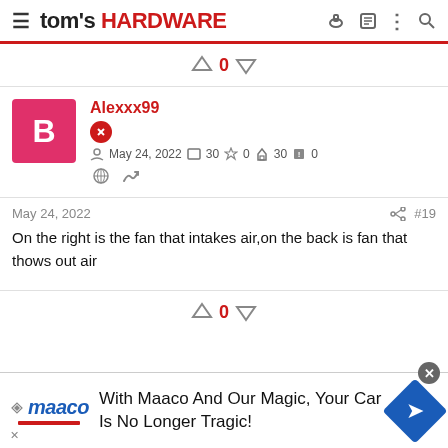tom's HARDWARE
↑ 0 ↓
Alexxx99
May 24, 2022  30  0  30  0
May 24, 2022  #19
On the right is the fan that intakes air,on the back is fan that thows out air
↑ 0 ↓
With Maaco And Our Magic, Your Car Is No Longer Tragic!